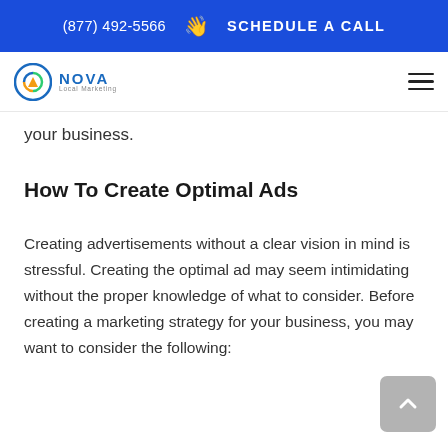(877) 492-5566  👋  SCHEDULE A CALL
[Figure (logo): Nova Local Marketing logo with circular green/orange icon and blue NOVA text]
your business.
How To Create Optimal Ads
Creating advertisements without a clear vision in mind is stressful. Creating the optimal ad may seem intimidating without the proper knowledge of what to consider. Before creating a marketing strategy for your business, you may want to consider the following: